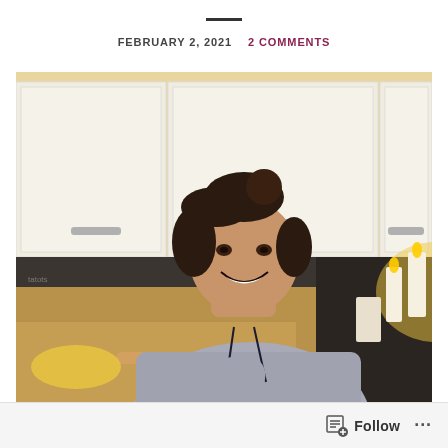FEBRUARY 2, 2021   2 COMMENTS
[Figure (photo): A young woman with her hair in a bun smiling at the camera while cooking in a kitchen. She is wearing a grey hoodie and standing at a counter with a rolling pin, flour, and various kitchen items. White cabinets are visible above and candles are lit in the background.]
Follow ...